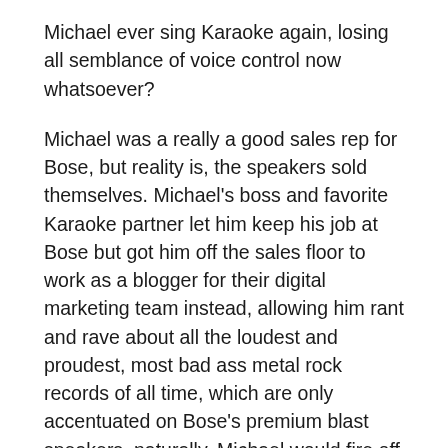Michael ever sing Karaoke again, losing all semblance of voice control now whatsoever?
Michael was a really a good sales rep for Bose, but reality is, the speakers sold themselves. Michael's boss and favorite Karaoke partner let him keep his job at Bose but got him off the sales floor to work as a blogger for their digital marketing team instead, allowing him rant and rave about all the loudest and proudest, most bad ass metal rock records of all time, which are only accentuated on Bose's premium blast speakers, naturally. Michael would fire off blog record recommendations for albums by The Who, Neil Young and Crazy Horse and Van Halen with divine powered authority. He'd pound the keyboard non-stop-all day long, which was sweet music to his boss's ears, knowing his employee and friend Michael could channel his love of fast, loud, kick ass metal like a Bat